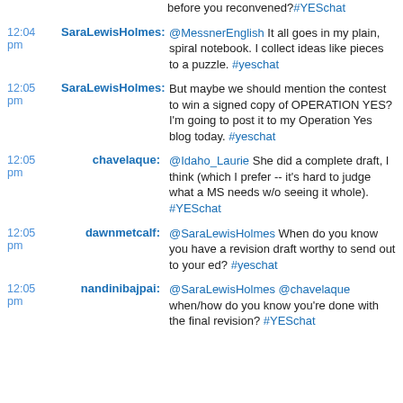before you reconvened?#YESchat
12:04 pm SaraLewisHolmes: @MessnerEnglish It all goes in my plain, spiral notebook. I collect ideas like pieces to a puzzle. #yeschat
12:05 pm SaraLewisHolmes: But maybe we should mention the contest to win a signed copy of OPERATION YES? I'm going to post it to my Operation Yes blog today. #yeschat
12:05 pm chavelaque: @Idaho_Laurie She did a complete draft, I think (which I prefer -- it's hard to judge what a MS needs w/o seeing it whole). #YESchat
12:05 pm dawnmetcalf: @SaraLewisHolmes When do you know you have a revision draft worthy to send out to your ed? #yeschat
12:05 pm nandinibajpai: @SaraLewisHolmes @chavelaque when/how do you know you're done with the final revision? #YESchat